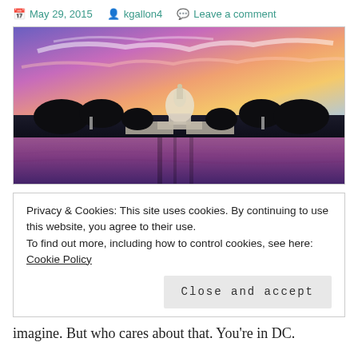May 29, 2015  kgallon4  Leave a comment
[Figure (photo): Panoramic photo of the US Capitol building at sunset reflected in the Tidal Basin, with vivid purple, pink, orange and blue sky.]
Privacy & Cookies: This site uses cookies. By continuing to use this website, you agree to their use.
To find out more, including how to control cookies, see here: Cookie Policy
[Close and accept]
imagine. But who cares about that. You’re in DC.